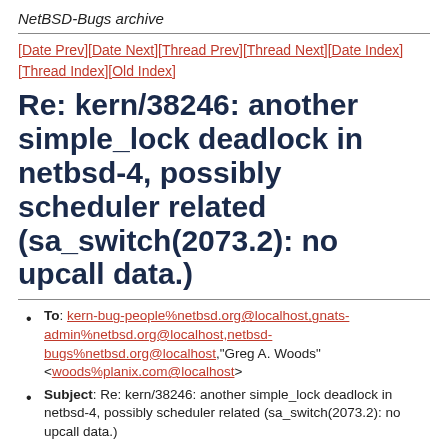NetBSD-Bugs archive
[Date Prev][Date Next][Thread Prev][Thread Next][Date Index][Thread Index][Old Index]
Re: kern/38246: another simple_lock deadlock in netbsd-4, possibly scheduler related (sa_switch(2073.2): no upcall data.)
To: kern-bug-people%netbsd.org@localhost,gnats-admin%netbsd.org@localhost,netbsd-bugs%netbsd.org@localhost,"Greg A. Woods" <woods%planix.com@localhost>
Subject: Re: kern/38246: another simple_lock deadlock in netbsd-4, possibly scheduler related (sa_switch(2073.2): no upcall data.)